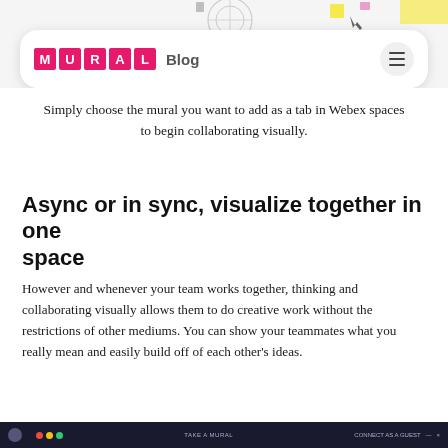[Figure (screenshot): Top portion of a browser screenshot showing a diagram (partially visible) and the MURAL Blog website navigation header with the MURAL logo (pink letter tiles spelling M U R A L) and a hamburger menu button.]
Simply choose the mural you want to add as a tab in Webex spaces to begin collaborating visually.
Async or in sync, visualize together in one space
However and whenever your team works together, thinking and collaborating visually allows them to do creative work without the restrictions of other mediums. You can show your teammates what you really mean and easily build off of each other's ideas.
[Figure (screenshot): Bottom portion of a browser screenshot showing a dark-themed MURAL application interface.]